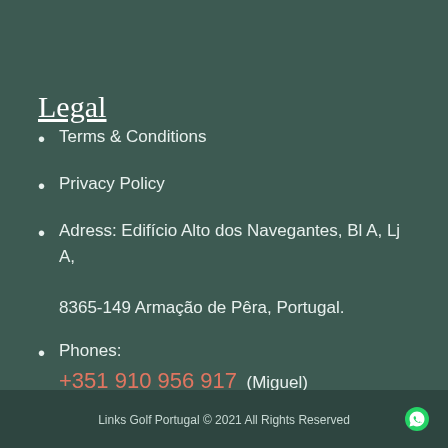Legal
Terms & Conditions
Privacy Policy
Adress: Edifício Alto dos Navegantes, Bl A, Lj A, 8365-149 Armação de Pêra, Portugal.
Phones: +351 910 956 917 (Miguel) +351 960 273 790 (Cristina)
Links Golf Portugal © 2021 All Rights Reserved